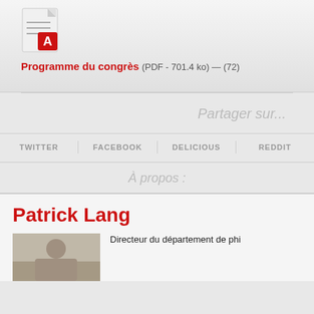[Figure (other): PDF document icon with red Acrobat logo]
Programme du congrès (PDF - 701.4 ko) — (72)
Partager sur...
TWITTER   FACEBOOK   DELICIOUS   REDDIT
À propos :
Patrick Lang
[Figure (photo): Photo of Patrick Lang]
Directeur du département de phi